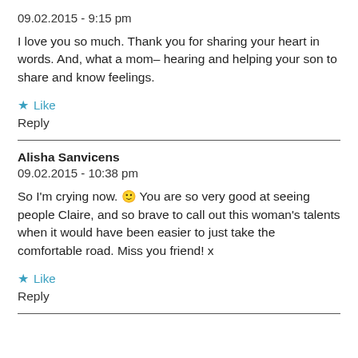09.02.2015 - 9:15 pm
I love you so much. Thank you for sharing your heart in words. And, what a mom– hearing and helping your son to share and know feelings.
★ Like
Reply
Alisha Sanvicens
09.02.2015 - 10:38 pm
So I'm crying now. 🙂 You are so very good at seeing people Claire, and so brave to call out this woman's talents when it would have been easier to just take the comfortable road. Miss you friend! x
★ Like
Reply